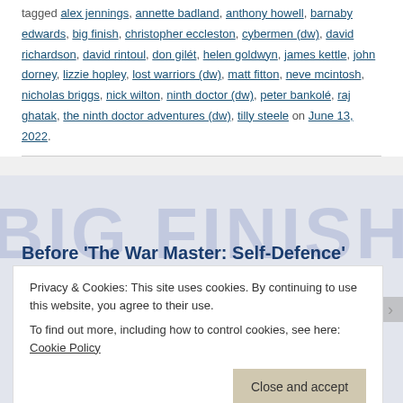tagged alex jennings, annette badland, anthony howell, barnaby edwards, big finish, christopher eccleston, cybermen (dw), david richardson, david rintoul, don gilét, helen goldwyn, james kettle, john dorney, lizzie hopley, lost warriors (dw), matt fitton, neve mcintosh, nicholas briggs, nick wilton, ninth doctor (dw), peter bankolé, raj ghatak, the ninth doctor adventures (dw), tilly steele on June 13, 2022.
Before 'The War Master: Self-Defence'
Privacy & Cookies: This site uses cookies. By continuing to use this website, you agree to their use.
To find out more, including how to control cookies, see here: Cookie Policy